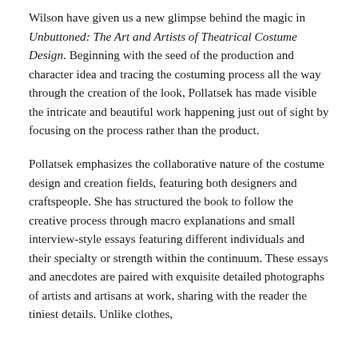Wilson have given us a new glimpse behind the magic in Unbuttoned: The Art and Artists of Theatrical Costume Design. Beginning with the seed of the production and character idea and tracing the costuming process all the way through the creation of the look, Pollatsek has made visible the intricate and beautiful work happening just out of sight by focusing on the process rather than the product.
Pollatsek emphasizes the collaborative nature of the costume design and creation fields, featuring both designers and craftspeople. She has structured the book to follow the creative process through macro explanations and small interview-style essays featuring different individuals and their specialty or strength within the continuum. These essays and anecdotes are paired with exquisite detailed photographs of artists and artisans at work, sharing with the reader the tiniest details. Unlike clothes,